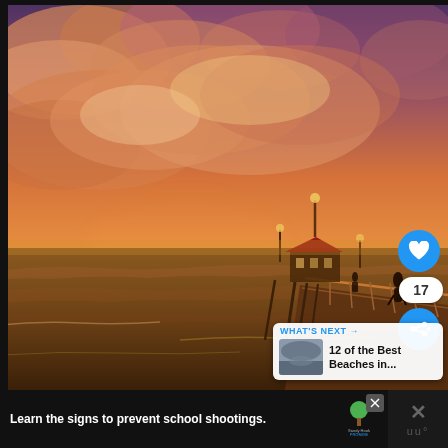[Figure (photo): Sunset photo of a beach pier (appears to be Huntington Beach Pier) extending into the ocean with dramatic orange and pink clouds, warm golden light, with silhouettes of people walking on the pier and waves on the water.]
17
WHAT'S NEXT →
12 of the Best Beaches in...
Learn the signs to prevent school shootings.